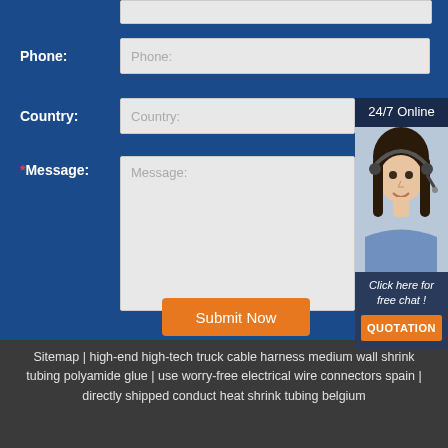Phone:
Country:
*Message:
[Figure (illustration): Contact form panel with blue background showing Phone, Country, and Message input fields, a Submit Now button, and a 24/7 Online chat widget showing a female customer service representative with headset and a Click here for free chat / QUOTATION button.]
Sitemap | high-end high-tech truck cable harness medium wall shrink tubing polyamide glue | use worry-free electrical wire connectors spain | directly shipped conduct heat shrink tubing belgium